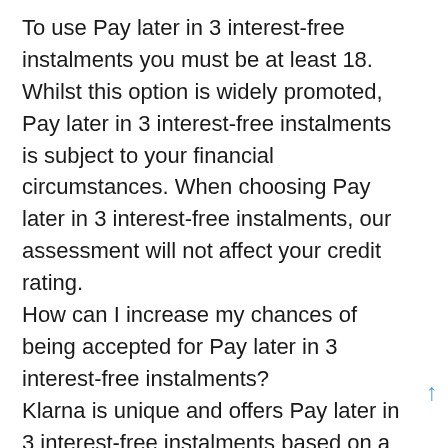To use Pay later in 3 interest-free instalments you must be at least 18. Whilst this option is widely promoted, Pay later in 3 interest-free instalments is subject to your financial circumstances. When choosing Pay later in 3 interest-free instalments, our assessment will not affect your credit rating.
How can I increase my chances of being accepted for Pay later in 3 interest-free instalments?
Klarna is unique and offers Pay later in 3 interest-free instalments based on a number of factors such as the order value, previous